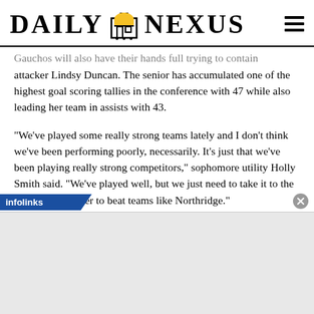DAILY NEXUS
Gauchos will also have their hands full trying to contain attacker Lindsy Duncan. The senior has accumulated one of the highest goal scoring tallies in the conference with 47 while also leading her team in assists with 43.
“We’ve played some really strong teams lately and I don’t think we’ve been performing poorly, necessarily. It’s just that we’ve been playing really strong competitors,” sophomore utility Holly Smith said. “We’ve played well, but we just need to take it to the next level in order to beat teams like Northridge.”
[Figure (other): infolinks advertisement bar with close button]